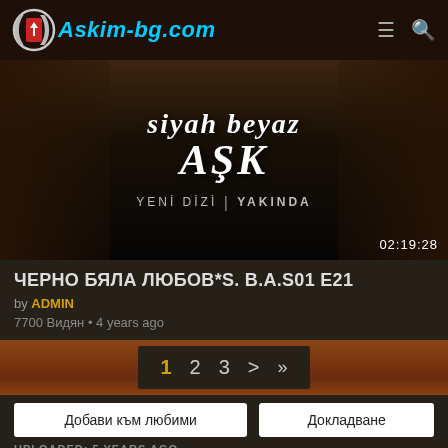Askim-bg.com
[Figure (photo): Turkish TV series 'Siyah Beyaz Aşk' promotional image showing two faces on sides, title text in center with 'YENİ DİZİ | YAKINDA' subtitle and timestamp 02:19:28]
ЧЕРНО БЯЛА ЛЮБОВ*S. B.A.S01 E21
by ADMIN
7700 Видян • 4 years ago
1 2 3 > »
Добави към любими
Докладване
UPLOADED: 5 YEARS AGO